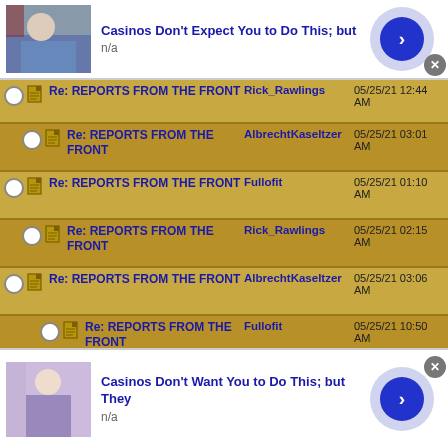[Figure (screenshot): Ad banner: Casinos Don't Expect You to Do This; but - with thumbnail of man in blue shirt, n/a subtitle, and blue arrow button]
Re: REPORTS FROM THE FRONT | Rick_Rawlings | 05/25/21 12:44 AM
Re: REPORTS FROM THE FRONT | AlbrechtKaseltzer | 05/25/21 03:01 AM
Re: REPORTS FROM THE FRONT | Fullofit | 05/25/21 01:10 AM
Re: REPORTS FROM THE FRONT | Rick_Rawlings | 05/25/21 02:15 AM
Re: REPORTS FROM THE FRONT | AlbrechtKaseltzer | 05/25/21 03:06 AM
Re: REPORTS FROM THE FRONT | Fullofit | 05/25/21 10:50 AM
Re: REPORTS FROM | trustworthykebab | 05/25/21 01:...
[Figure (screenshot): Ad banner: Casinos Don't Want You to Do This; but They - with thumbnail of woman, n/a subtitle, and blue arrow button]